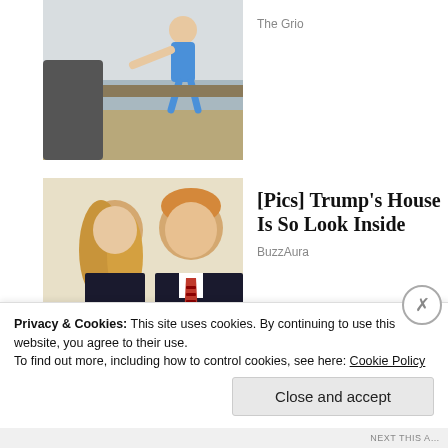[Figure (photo): Child jumping or being lifted near sandy beach, seen from behind a person on left]
The Grio
[Figure (photo): Woman with blonde hair and man in dark suit with red tie, appearing to be Melania and Donald Trump]
[Pics] Trump's House Is So Look Inside
BuzzAura
Privacy & Cookies: This site uses cookies. By continuing to use this website, you agree to their use.
To find out more, including how to control cookies, see here: Cookie Policy
Close and accept